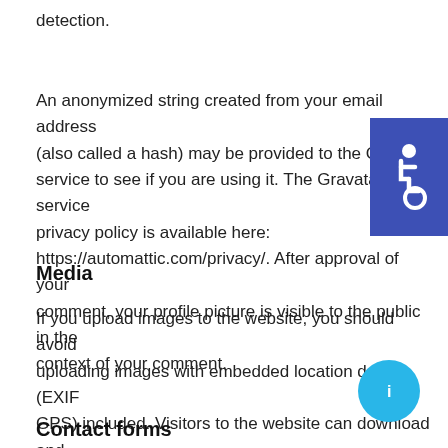detection.
An anonymized string created from your email address (also called a hash) may be provided to the Gravatar service to see if you are using it. The Gravatar service privacy policy is available here: https://automattic.com/privacy/. After approval of your comment, your profile picture is visible to the public in the context of your comment.
[Figure (illustration): Blue square with white wheelchair accessibility icon]
Media
If you upload images to the website, you should avoid uploading images with embedded location data (EXIF GPS) included. Visitors to the website can download and extract any location data from images on the website.
[Figure (illustration): Cyan/teal circular button with an information icon]
Contact forms